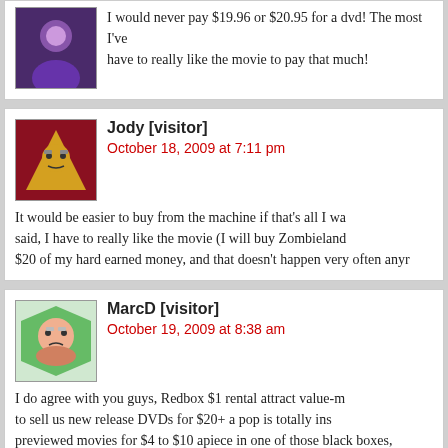I would never pay $19.96 or $20.95 for a dvd! The most I've... have to really like the movie to pay that much!
Jody [visitor]
October 18, 2009 at 7:11 pm
It would be easier to buy from the machine if that's all I wa... said, I have to really like the movie (I will buy Zombieland... $20 of my hard earned money, and that doesn't happen very often anyr...
MarcD [visitor]
October 19, 2009 at 8:38 am
I do agree with you guys, Redbox $1 rental attract value-m... to sell us new release DVDs for $20+ a pop is totally ins... previewed movies for $4 to $10 apiece in one of those black boxes,... sense and more in line with what they stand for – VALUE.
Glen [visitor]
October 20, 2009 at 5:11 pm
I agree with MarcD completely. Trying to sell new DVD... not make sense. Were is Redbox with what I am sure...